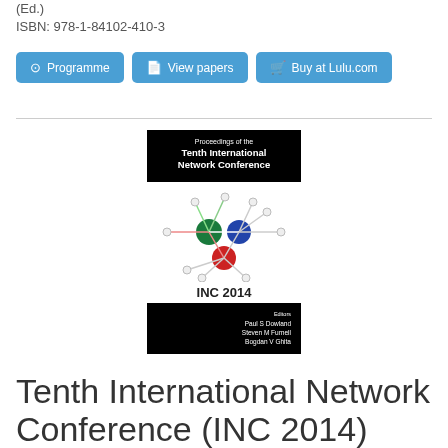(Ed.)
ISBN: 978-1-84102-410-3
[Figure (screenshot): Three navigation buttons: Programme, View papers, Buy at Lulu.com — styled in blue with icons]
[Figure (illustration): Book cover for 'Proceedings of the Tenth International Network Conference (INC 2014)' with network graph diagram and editors Paul S Dowland, Steven M Furnell, Bogdan V Ghita]
Tenth International Network Conference (INC 2014)